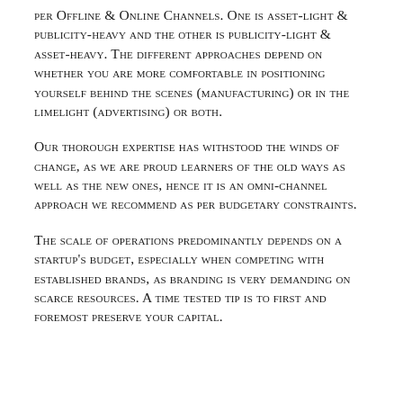per Offline & Online Channels. One is asset-light & publicity-heavy and the other is publicity-light & asset-heavy. The different approaches depend on whether you are more comfortable in positioning yourself behind the scenes (manufacturing) or in the limelight (advertising) or both.
Our thorough expertise has withstood the winds of change, as we are proud learners of the old ways as well as the new ones, hence it is an omni-channel approach we recommend as per budgetary constraints.
The scale of operations predominantly depends on a startup's budget, especially when competing with established brands, as branding is very demanding on scarce resources. A time tested tip is to first and foremost preserve your capital.